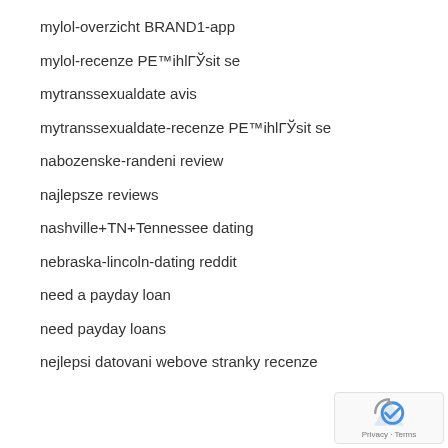mylol-overzicht BRAND1-app
mylol-recenze PЕ™ihlГЎsit se
mytranssexualdate avis
mytranssexualdate-recenze PЕ™ihlГЎsit se
nabozenske-randeni review
najlepsze reviews
nashville+TN+Tennessee dating
nebraska-lincoln-dating reddit
need a payday loan
need payday loans
nejlepsi datovani webove stranky recenze